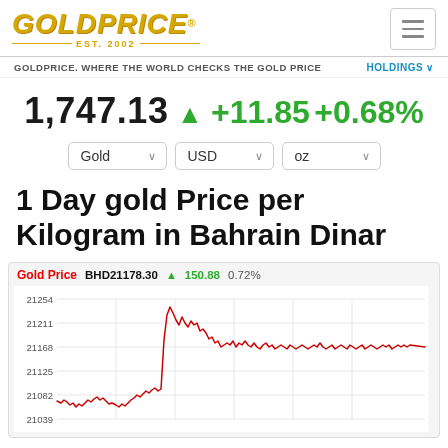[Figure (logo): GoldPrice logo with gold italic text and EST. 2002 subtitle]
GOLDPRICE. WHERE THE WORLD CHECKS THE GOLD PRICE
HOLDINGS ∨
1,747.13 ▲ +11.85 +0.68%
1 Day gold Price per Kilogram in Bahrain Dinar
[Figure (continuous-plot): 1 Day gold price line chart in BHD. Red line showing intraday price movement. Y-axis labels: 21039, 21082, 21125, 21168, 21211, 21254. Chart shows price rising sharply then settling around 21168-21190 range. Current price BHD21178.30, change +150.88, +0.72%]